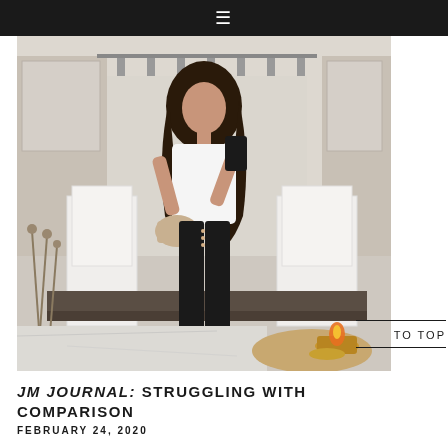≡
[Figure (photo): A woman in a white top and black high-waisted pants with button details, holding a phone taking a mirror selfie. She carries a beige shoulder bag. The background shows a dining room with white chairs and a dark wood table. A lit orange candle in a gold holder and dried flowers are visible in the foreground.]
JM JOURNAL: STRUGGLING WITH COMPARISON
FEBRUARY 24, 2020